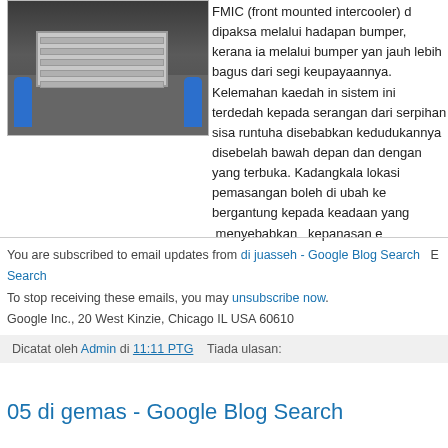[Figure (photo): Front view of a car with a front mounted intercooler (FMIC) installed, with blue hoses visible on both sides]
FMIC (front mounted intercooler) dipaksa melalui hadapan bumper, kerana ia melalui bumper yang jauh lebih bagus dari segi keupayaannya. Kelemahan kaedah ini sistem ini terdedah kepada serangan dari serpihan sisa runtuhan disebabkan kedudukannya disebelah bawah depan dan dengan yang terbuka. Kadangkala lokasi pemasangan boleh di ubah ke bergantung kepada keadaan yang menyebabkan kepanasan e
You are subscribed to email updates from di juasseh - Google Blog Search
To stop receiving these emails, you may unsubscribe now.
Google Inc., 20 West Kinzie, Chicago IL USA 60610
Dicatat oleh Admin di 11:11 PTG   Tiada ulasan:
05 di gemas - Google Blog Search